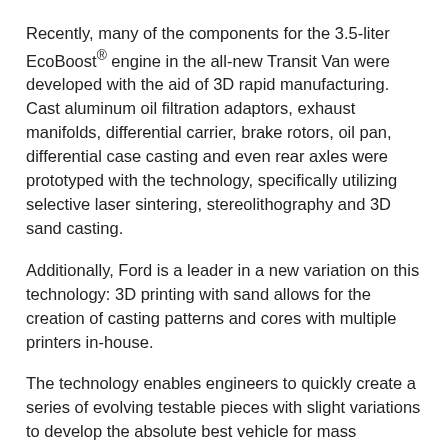Recently, many of the components for the 3.5-liter EcoBoost® engine in the all-new Transit Van were developed with the aid of 3D rapid manufacturing. Cast aluminum oil filtration adaptors, exhaust manifolds, differential carrier, brake rotors, oil pan, differential case casting and even rear axles were prototyped with the technology, specifically utilizing selective laser sintering, stereolithography and 3D sand casting.
Additionally, Ford is a leader in a new variation on this technology: 3D printing with sand allows for the creation of casting patterns and cores with multiple printers in-house.
The technology enables engineers to quickly create a series of evolving testable pieces with slight variations to develop the absolute best vehicle for mass production. This results in improved efficiency and time to market, reduced time spent waiting on iterations and increased cost savings. Examples of 3D sand printing include:
C-MAX, Fusion Hybrid: Rotor supports,